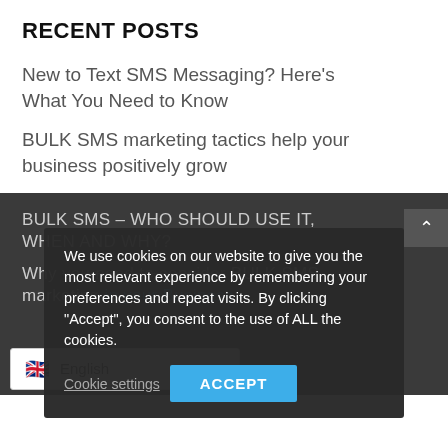RECENT POSTS
New to Text SMS Messaging? Here's What You Need to Know
BULK SMS marketing tactics help your business positively grow
BULK SMS – WHO SHOULD USE IT, WHEN AND WHY?
Why you need to consider BULK SMS marketing in your business
We use cookies on our website to give you the most relevant experience by remembering your preferences and repeat visits. By clicking "Accept", you consent to the use of ALL the cookies.
k SMS marketing and